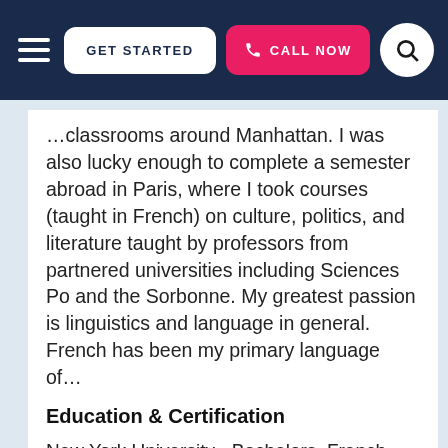GET STARTED  CALL NOW
…classrooms around Manhattan. I was also lucky enough to complete a semester abroad in Paris, where I took courses (taught in French) on culture, politics, and literature taught by professors from partnered universities including Sciences Po and the Sorbonne. My greatest passion is linguistics and language in general. French has been my primary language of…
Education & Certification
New York University - Bachelors, French, Linguistics
View this Jacksonville Languages Tutor ▶